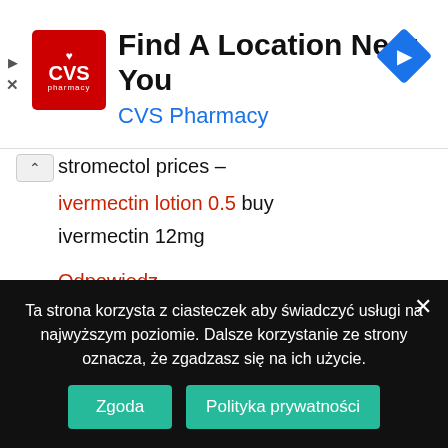[Figure (logo): CVS Pharmacy advertisement banner with CVS red logo, text 'Find A Location Near You' and 'CVS Pharmacy' in blue, and a blue navigation diamond icon on the right.]
stromectol prices – ivermectin lotion 0.5 buy ivermectin 12mg
Odpowiedz
junimeridio pisze:
18 lipca 2021 o 03:09
Ta strona korzysta z ciasteczek aby świadczyć usługi na najwyższym poziomie. Dalsze korzystanie ze strony oznacza, że zgadzasz się na ich użycie.